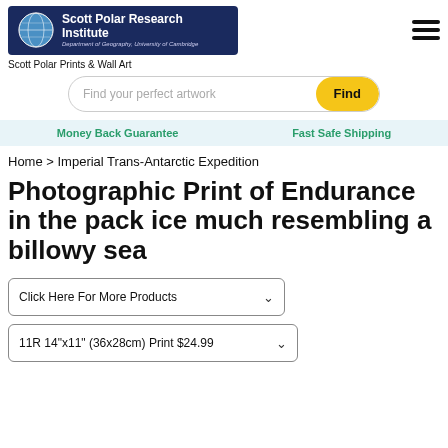Scott Polar Research Institute — Department of Geography, University of Cambridge
Scott Polar Prints & Wall Art
Find your perfect artwork
Money Back Guarantee    Fast Safe Shipping
Home > Imperial Trans-Antarctic Expedition
Photographic Print of Endurance in the pack ice much resembling a billowy sea
Click Here For More Products
11R 14"x11" (36x28cm) Print $24.99